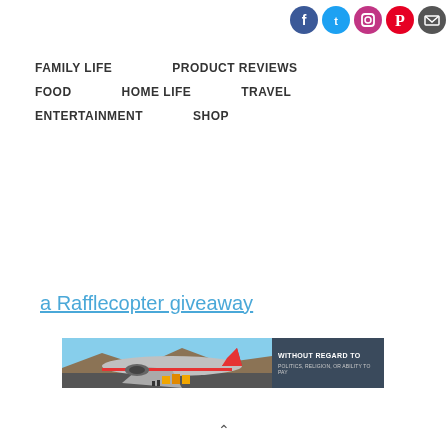[Figure (infographic): Social media icons: Facebook, Twitter, Instagram, Pinterest, Email]
FAMILY LIFE
PRODUCT REVIEWS
FOOD
HOME LIFE
TRAVEL
ENTERTAINMENT
SHOP
a Rafflecopter giveaway
[Figure (photo): Advertisement banner showing an airplane being loaded with cargo, with text 'WITHOUT REGARD TO POLITICS, RELIGION, OR ABILITY TO PAY']